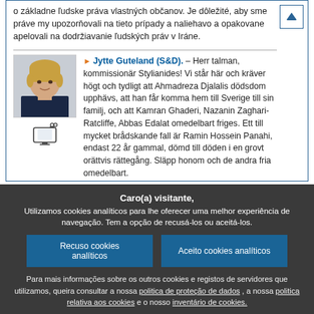o základne ľudske práva vlastných občanov. Je dôležité, aby sme práve my upozorňovali na tieto prípady a naliehavo a opakovane apelovali na dodržiavanie ľudských práv v Iráne.
[Figure (photo): Portrait photo of Jytte Guteland, a woman with blonde hair]
Jytte Guteland (S&D). – Herr talman, kommissionär Stylianides! Vi står här och kräver högt och tydligt att Ahmadreza Djalalis dödsdom upphävs, att han får komma hem till Sverige till sin familj, och att Kamran Ghaderi, Nazanin Zaghari-Ratcliffe, Abbas Edalat omedelbart friges. Ett till mycket brådskande fall är Ramin Hossein Panahi, endast 22 år gammal, dömd till döden i en grovt orättvis rättegång. Släpp honom och de andra fria omedelbart.
Caro(a) visitante,
Utilizamos cookies analíticos para lhe oferecer uma melhor experiência de navegação. Tem a opção de recusá-los ou aceitá-los.
Recuso cookies analíticos
Aceito cookies analíticos
Para mais informações sobre os outros cookies e registos de servidores que utilizamos, queira consultar a nossa politica de proteção de dados , a nossa politica relativa aos cookies e o nosso inventário de cookies.